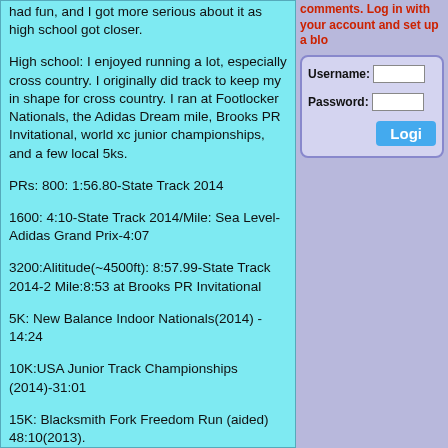had fun, and I got more serious about it as high school got closer.
High school: I enjoyed running a lot, especially cross country.  I originally did track to keep my in shape for cross country.  I ran at Footlocker Nationals, the Adidas Dream mile, Brooks PR Invitational, world xc junior championships, and a few local 5ks.
PRs: 800: 1:56.80-State Track 2014
1600: 4:10-State Track 2014/Mile: Sea Level-Adidas Grand Prix-4:07
3200:Alititude(~4500ft): 8:57.99-State Track 2014-2 Mile:8:53 at Brooks PR Invitational
5K: New Balance Indoor Nationals(2014) - 14:24
10K:USA Junior Track Championships (2014)-31:01
15K: Blacksmith Fork Freedom Run (aided) 48:10(2013).
comments. Log in with your account and set up a blog
[Figure (screenshot): Login form with Username and Password fields and a Login button]